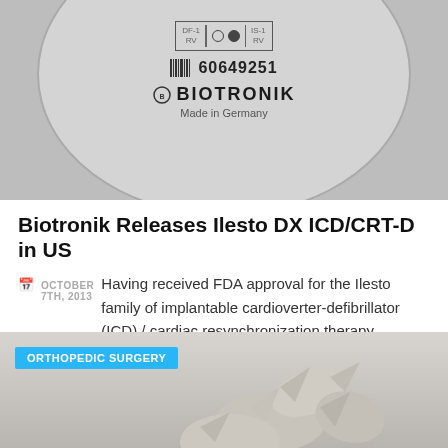[Figure (photo): Close-up of a BIOTRONIK Ilesto medical device (ICD/CRT-D) showing connector ports labeled DF-1/RV and IS-1/RV, a barcode, serial number 60649251, BIOTRONIK logo, and 'Made in Germany' text.]
Biotronik Releases Ilesto DX ICD/CRT-D in US
OCTOBER 7TH, 2013  Having received FDA approval for the Ilesto family of implantable cardioverter-defibrillator (ICD) / cardiac resynchronization therapy defibrillator (CRT-D) devices, BIOTRONIK is launching the Ilesto DX platform in the US. Currently, there are two basic options when it comes to ICD/CRT devices. The first are dual lead systems that are...
[Figure (photo): Orthopedic surgery image showing bone/joint implant components on a light background, with a cyan 'ORTHOPEDIC SURGERY' badge overlay.]